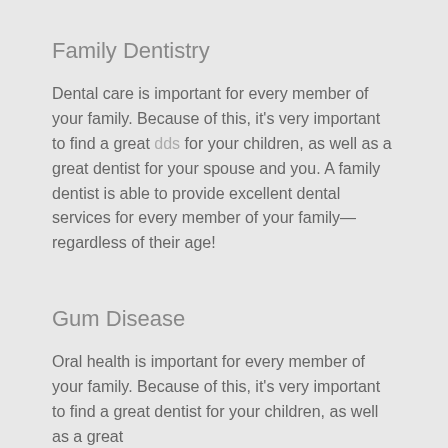Family Dentistry
Dental care is important for every member of your family. Because of this, it's very important to find a great dds for your children, as well as a great dentist for your spouse and you. A family dentist is able to provide excellent dental services for every member of your family—regardless of their age!
Gum Disease
Oral health is important for every member of your family. Because of this, it's very important to find a great dentist for your children, as well as a great